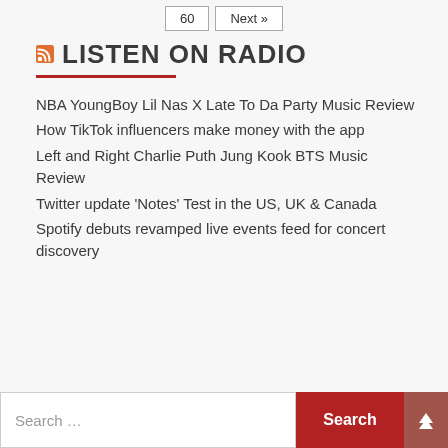60   Next »
LISTEN ON RADIO
NBA YoungBoy Lil Nas X Late To Da Party Music Review
How TikTok influencers make money with the app
Left and Right Charlie Puth Jung Kook BTS Music Review
Twitter update 'Notes' Test in the US, UK & Canada
Spotify debuts revamped live events feed for concert discovery
Search …